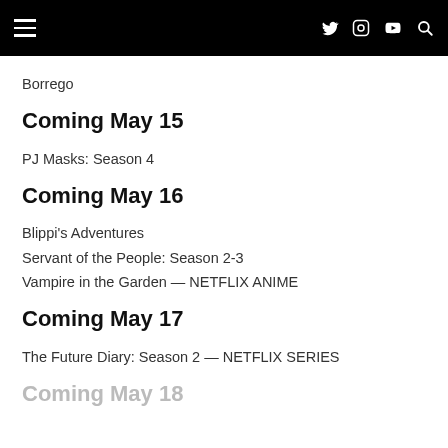[Navigation bar with hamburger menu, Twitter, Instagram, YouTube, Search icons]
Borrego
Coming May 15
PJ Masks: Season 4
Coming May 16
Blippi's Adventures
Servant of the People: Season 2-3
Vampire in the Garden — NETFLIX ANIME
Coming May 17
The Future Diary: Season 2 — NETFLIX SERIES
Coming May 18